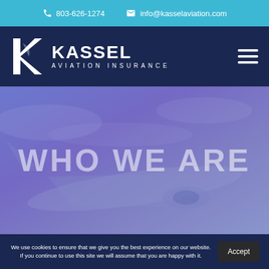803-626-1274   info@kasselaviation.com
[Figure (logo): Kassel Aviation Insurance logo with stylized K letter and company name]
[Figure (photo): Hero banner with airplane in blue-purple sky and overlaid text WHO WE ARE]
WHO WE ARE
We use cookies to ensure that we give you the best experience on our website. If you continue to use this site we will assume that you are happy with it.